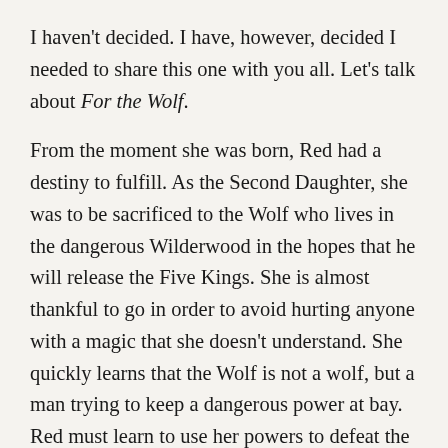I haven't decided. I have, however, decided I needed to share this one with you all. Let's talk about For the Wolf.
From the moment she was born, Red had a destiny to fulfill. As the Second Daughter, she was to be sacrificed to the Wolf who lives in the dangerous Wilderwood in the hopes that he will release the Five Kings. She is almost thankful to go in order to avoid hurting anyone with a magic that she doesn't understand. She quickly learns that the Wolf is not a wolf, but a man trying to keep a dangerous power at bay. Red must learn to use her powers to defeat the dark magic that lies in the Wilderwood before it